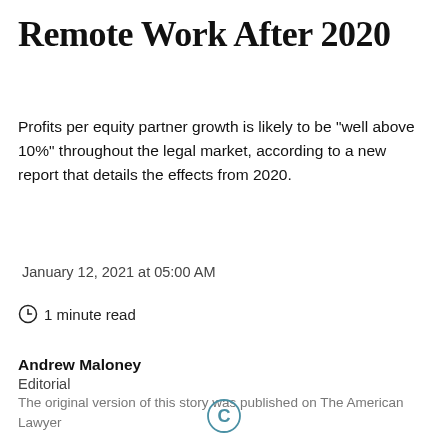Remote Work After 2020
Profits per equity partner growth is likely to be "well above 10%" throughout the legal market, according to a new report that details the effects from 2020.
January 12, 2021 at 05:00 AM
1 minute read
Andrew Maloney
Editorial
The original version of this story was published on The American Lawyer